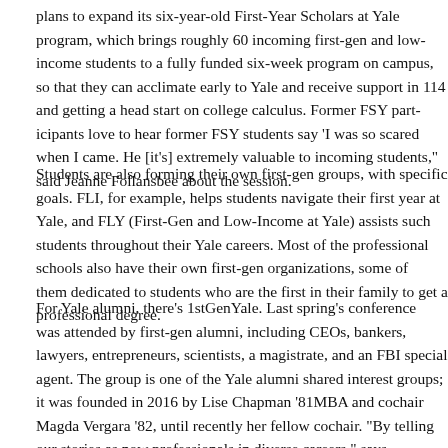plans to expand its six-year-old First-Year Scholars at Yale program, which brings roughly 60 incoming first-gen and low-income students to a fully funded six-week program on campus, so that they can acclimate early to Yale and receive support in 114 and getting a head start on college calculus. Former FSY participants love to hear former FSY students say 'I was so scared when I came. He extremely valuable to incoming students,' said Jeanne Follansbee session.
Students are also forming their own first-gen groups, with specific example, helps students navigate their first year at Yale, and FLY at Yale) assists such students throughout their Yale careers. Most of the schools also have their own first-gen organizations, some of them who are the first in their family to get a professional degree.
For Yale alumni, there's 1stGenYale. Last spring's conference was gen alumni, including CEOs, bankers, lawyers, entrepreneurs, scientists, a magistrate, and an FBI special agent. The group is one of the Yale alumni interest groups; it was founded in 2016 by Lise Chapman '81MBA and Magda Vergara '82, until recently her fellow cochair. "By telling our stories as now professionals in diverse careers," says Chapman, "we can help"